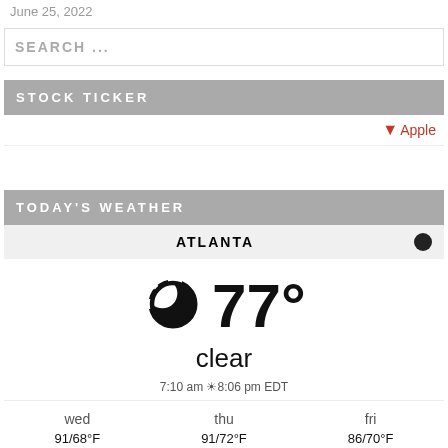June 25, 2022
SEARCH ...
STOCK TICKER
↓ Apple
TODAY'S WEATHER
ATLANTA
77° clear 7:10 am ☼ 8:06 pm EDT
| wed | thu | fri |
| --- | --- | --- |
| 91/68°F | 91/72°F | 86/70°F |